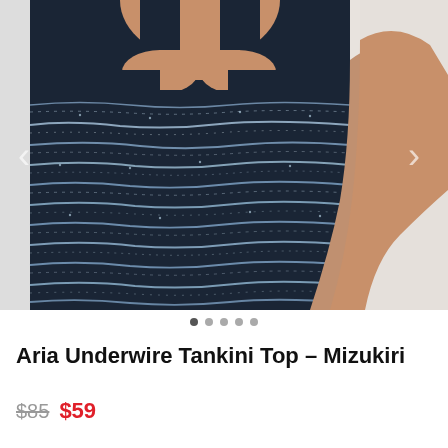[Figure (photo): Close-up photo of a model wearing a navy blue striped tankini top (Aria Underwire Tankini Top in Mizukiri pattern). The top features horizontal white and blue wavy stripe pattern on dark navy fabric, with a V-notch neckline. Left and right navigation arrows are visible on the edges of the image.]
Aria Underwire Tankini Top - Mizukiri
$85  $59